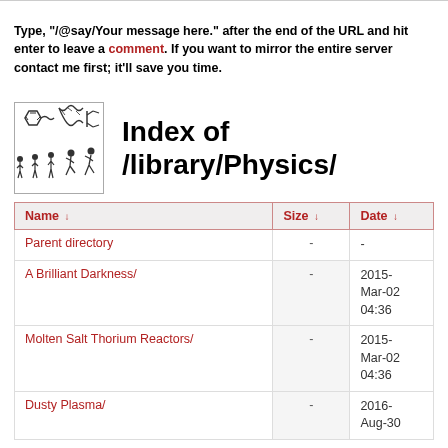Type, "/@say/Your message here." after the end of the URL and hit enter to leave a comment. If you want to mirror the entire server contact me first; it'll save you time.
Index of /library/Physics/
| Name ↓ | Size ↓ | Date ↓ |
| --- | --- | --- |
| Parent directory | - | - |
| A Brilliant Darkness/ | - | 2015-Mar-02 04:36 |
| Molten Salt Thorium Reactors/ | - | 2015-Mar-02 04:36 |
| Dusty Plasma/ | - | 2016-Aug-30 |